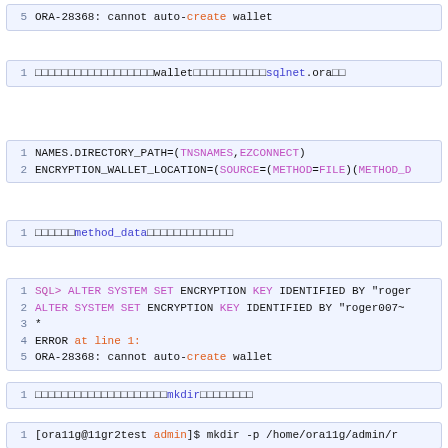[Figure (screenshot): Code block line 5: ORA-28368: cannot auto-create wallet]
[Figure (screenshot): Code block line 1: Japanese text with wallet and sqlnet.ora]
[Figure (screenshot): Code block lines 1-2: NAMES.DIRECTORY_PATH and ENCRYPTION_WALLET_LOCATION config]
[Figure (screenshot): Code block line 1: Japanese text with method_data]
[Figure (screenshot): Code block lines 1-5: SQL ALTER SYSTEM SET ENCRYPTION KEY command with error]
[Figure (screenshot): Code block line 1: Japanese text with mkdir]
[Figure (screenshot): Code block line 1: [ora11g@11gr2test admin]$ mkdir -p /home/ora11g/admin/r...]